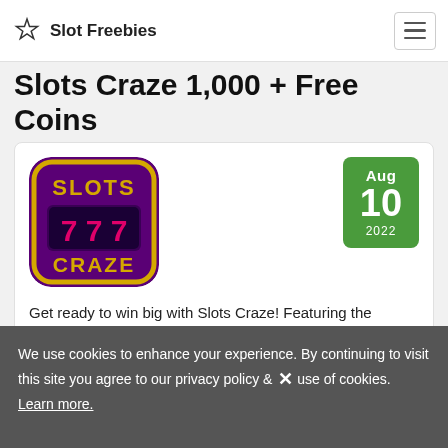Slot Freebies
Slots Craze 1,000 + Free Coins
[Figure (logo): Slots Craze app icon: purple rounded square with gold 'SLOTS' text, three 777 slot reels in pink/red, and gold 'CRAZE' text at bottom]
Aug 10 2022
Get ready to win big with Slots Craze! Featuring the hottest slots this side of Vegas! Spin for big wins now! Mobile for Android and iOS. Play on Facebook!
We use cookies to enhance your experience. By continuing to visit this site you agree to our privacy policy & use of cookies. Learn more.